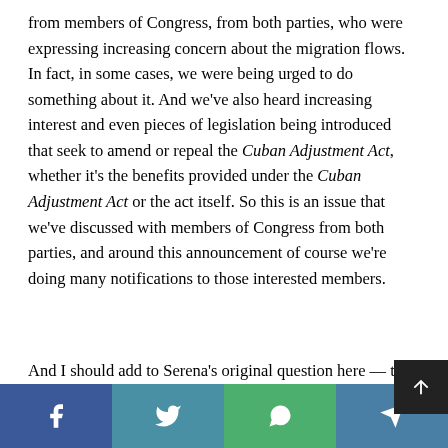from members of Congress, from both parties, who were expressing increasing concern about the migration flows.  In fact, in some cases, we were being urged to do something about it.  And we've also heard increasing interest and even pieces of legislation being introduced that seek to amend or repeal the Cuban Adjustment Act, whether it's the benefits provided under the Cuban Adjustment Act or the act itself.  So this is an issue that we've discussed with members of Congress from both parties, and around this announcement of course we're doing many notifications to those interested members.
And I should add to Serena's original question here — that congressional interest is one of the things that gave us a